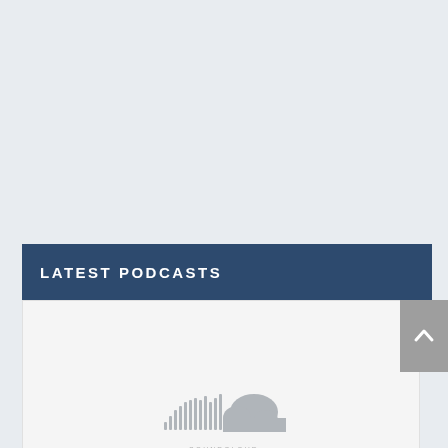LATEST PODCASTS
[Figure (logo): SoundCloud logo — waveform bars with cloud shape in grey]